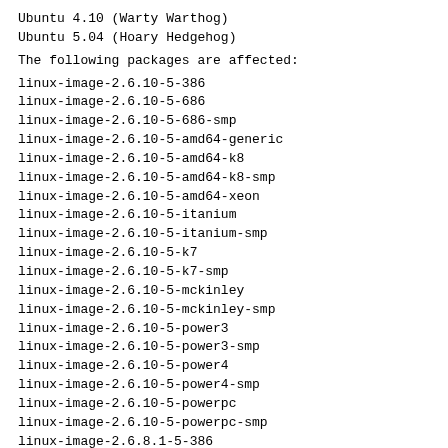Ubuntu 4.10 (Warty Warthog)
Ubuntu 5.04 (Hoary Hedgehog)
The following packages are affected:
linux-image-2.6.10-5-386
linux-image-2.6.10-5-686
linux-image-2.6.10-5-686-smp
linux-image-2.6.10-5-amd64-generic
linux-image-2.6.10-5-amd64-k8
linux-image-2.6.10-5-amd64-k8-smp
linux-image-2.6.10-5-amd64-xeon
linux-image-2.6.10-5-itanium
linux-image-2.6.10-5-itanium-smp
linux-image-2.6.10-5-k7
linux-image-2.6.10-5-k7-smp
linux-image-2.6.10-5-mckinley
linux-image-2.6.10-5-mckinley-smp
linux-image-2.6.10-5-power3
linux-image-2.6.10-5-power3-smp
linux-image-2.6.10-5-power4
linux-image-2.6.10-5-power4-smp
linux-image-2.6.10-5-powerpc
linux-image-2.6.10-5-powerpc-smp
linux-image-2.6.8.1-5-386
linux-image-2.6.8.1-5-686
linux-image-2.6.8.1-5-686-smp
linux-image-2.6.8.1-5-amd64-generic
linux-image-2.6.8.1-5-amd64-k8
linux-image-2.6.8.1-5-amd64-k8-smp